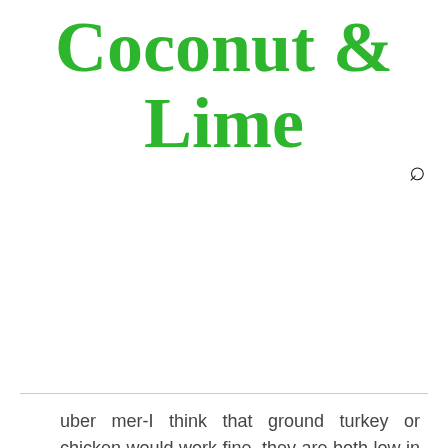Coconut & Lime
uber mer-I think that ground turkey or chicken would work fine, they are both low in fat.
Good idea about the tomato “gravy”. I was thinking along those lines too.